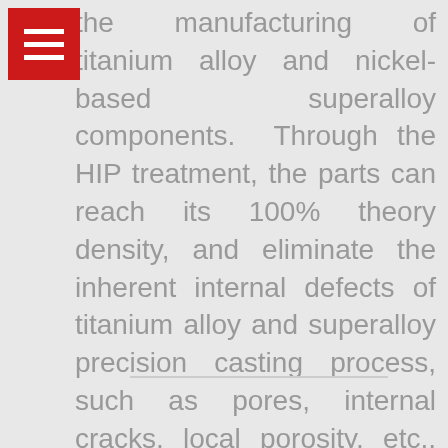the manufacturing of titanium alloy and nickel-based superalloy components. Through the HIP treatment, the parts can reach its 100% theory density, and eliminate the inherent internal defects of titanium alloy and superalloy precision casting process, such as pores, internal cracks, local porosity, etc., thus improving the overall mechanical properties of the parts, especially the fatigue performance, while reducing the cost and improving the energy efficiency.